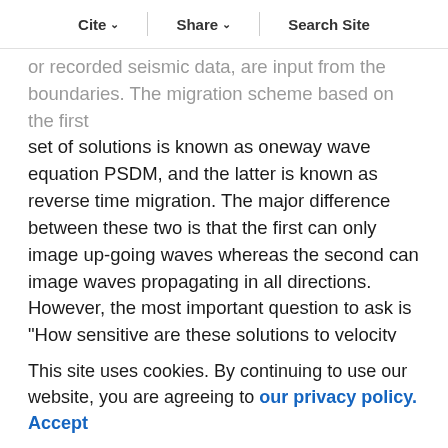Cite  Share  Search Site
or recorded seismic data, are input from the boundaries. The migration scheme based on the first set of solutions is known as oneway wave equation PSDM, and the latter is known as reverse time migration. The major difference between these two is that the first can only image up-going waves whereas the second can image waves propagating in all directions. However, the most important question to ask is "How sensitive are these solutions to velocity field errors"?. The usual way to measure migration sensitivity analysis is qualitatively. In other words, we migrate data with different velocities and measure dislocation of the image points with respect to the true image point. For simple velocity fields, such as flat reflector models, we can come up with
This site uses cookies. By continuing to use our website, you are agreeing to our privacy policy. Accept